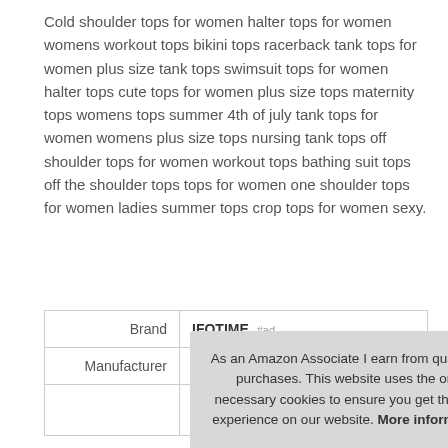Cold shoulder tops for women halter tops for women womens workout tops bikini tops racerback tank tops for women plus size tank tops swimsuit tops for women halter tops cute tops for women plus size tops maternity tops womens tops summer 4th of july tank tops for women womens plus size tops nursing tank tops off shoulder tops for women workout tops bathing suit tops off the shoulder tops tops for women one shoulder tops for women ladies summer tops crop tops for women sexy.
|  |  |
| --- | --- |
| Brand | IFOTIME #ad |
| Manufacturer | !! #ad |
As an Amazon Associate I earn from qualifying purchases. This website uses the only necessary cookies to ensure you get the best experience on our website. More information